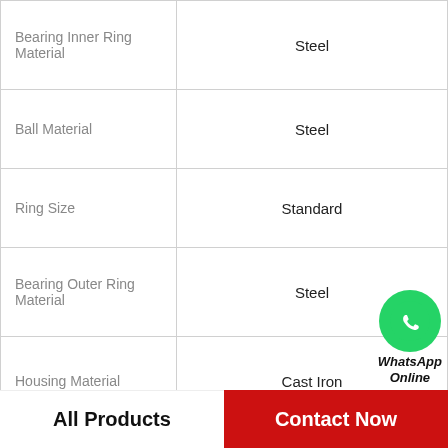| Property | Value |
| --- | --- |
| Bearing Inner Ring Material | Steel |
| Ball Material | Steel |
| Ring Size | Standard |
| Bearing Outer Ring Material | Steel |
| Housing Material | Cast Iron |
| Bearing Locking Device | Tapered Adapter Slee |
| Bearing Bore Shape | Round |
| Housing Type | Tapped Base Pillow B |
[Figure (logo): WhatsApp Online green phone icon with text 'WhatsApp Online']
All Products
Contact Now